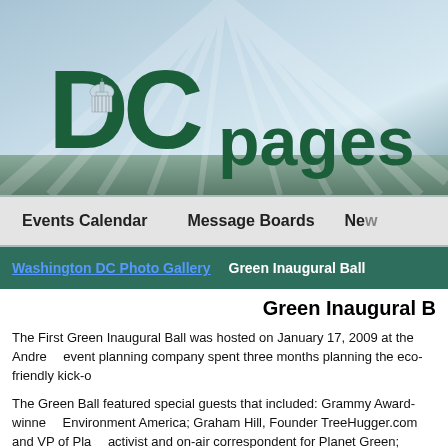[Figure (logo): DCpages logo with Capitol building graphic and sun rays background banner]
Events Calendar   Message Boards   New
Washington DC Photo Gallery   Green Inaugural Ball
Green Inaugural B
The First Green Inaugural Ball was hosted on January 17, 2009 at the Andre... event planning company spent three months planning the eco-friendly kick-o...
The Green Ball featured special guests that included: Grammy Award-winne... Environment America; Graham Hill, Founder TreeHugger.com and VP of Pla... activist and on-air correspondent for Planet Green; Christiana Wyly, environm... and singer, and Adrian Malik Fenty, mayor of the District of Columbia.